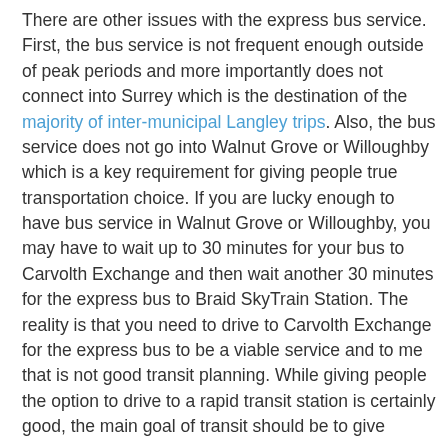There are other issues with the express bus service. First, the bus service is not frequent enough outside of peak periods and more importantly does not connect into Surrey which is the destination of the majority of inter-municipal Langley trips. Also, the bus service does not go into Walnut Grove or Willoughby which is a key requirement for giving people true transportation choice. If you are lucky enough to have bus service in Walnut Grove or Willoughby, you may have to wait up to 30 minutes for your bus to Carvolth Exchange and then wait another 30 minutes for the express bus to Braid SkyTrain Station. The reality is that you need to drive to Carvolth Exchange for the express bus to be a viable service and to me that is not good transit planning. While giving people the option to drive to a rapid transit station is certainly good, the main goal of transit should be to give people a viable option to avoid driving altogether. Of course the real reason why the express bus service does not go into Surrey, Walnut Grove or Willoughby is because TransLink doesn't have the cash. I can only hope that if the funding situation is ever resolved with TransLink, TransLink will transform the Port Mann express bus into a proper rapid transit-type service.